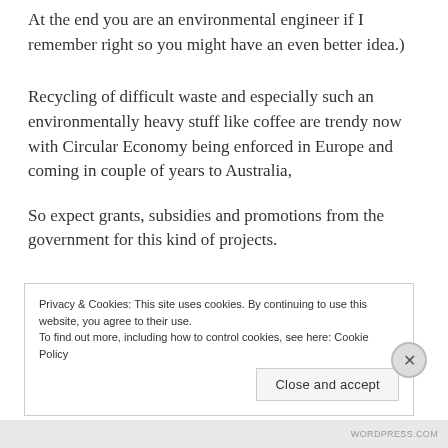At the end you are an environmental engineer if I remember right so you might have an even better idea.)
Recycling of difficult waste and especially such an environmentally heavy stuff like coffee are trendy now with Circular Economy being enforced in Europe and coming in couple of years to Australia,
So expect grants, subsidies and promotions from the government for this kind of projects.
Privacy & Cookies: This site uses cookies. By continuing to use this website, you agree to their use.
To find out more, including how to control cookies, see here: Cookie Policy
Close and accept